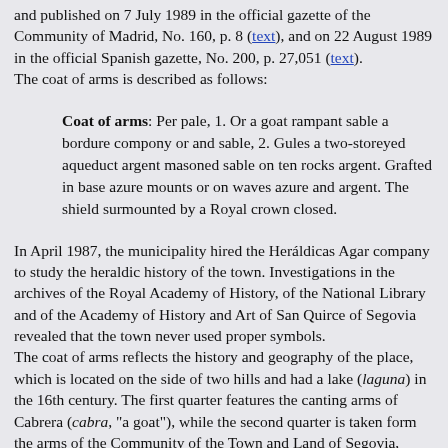and published on 7 July 1989 in the official gazette of the Community of Madrid, No. 160, p. 8 (text), and on 22 August 1989 in the official Spanish gazette, No. 200, p. 27,051 (text). The coat of arms is described as follows:
Coat of arms: Per pale, 1. Or a goat rampant sable a bordure compony or and sable, 2. Gules a two-storeyed aqueduct argent masoned sable on ten rocks argent. Grafted in base azure mounts or on waves azure and argent. The shield surmounted by a Royal crown closed.
In April 1987, the municipality hired the Heráldicas Agar company to study the heraldic history of the town. Investigations in the archives of the Royal Academy of History, of the National Library and of the Academy of History and Art of San Quirce of Segovia revealed that the town never used proper symbols. The coat of arms reflects the history and geography of the place, which is located on the side of two hills and had a lake (laguna) in the 16th century. The first quarter features the canting arms of Cabrera (cabra, "a goat"), while the second quarter is taken form the arms of the Community of the Town and Land of Segovia, featuring the Roman aqueduct of Segovia. The municipality proposed to adopt a flag with a blue field, but the Community of Madrid accepts only a red or yellow background,